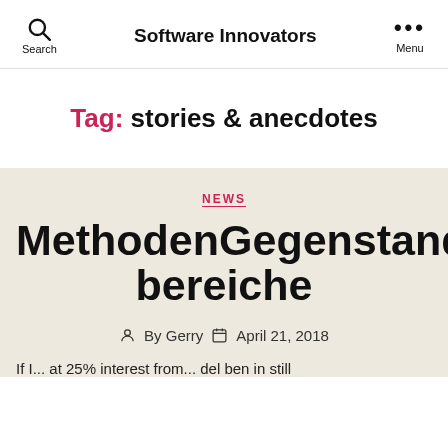Search  Software Innovators  Menu
Tag: stories & anecdotes
NEWS
MethodenGegenstandsbereiche
By Gerry  April 21, 2018
If I... at 25% interest from...